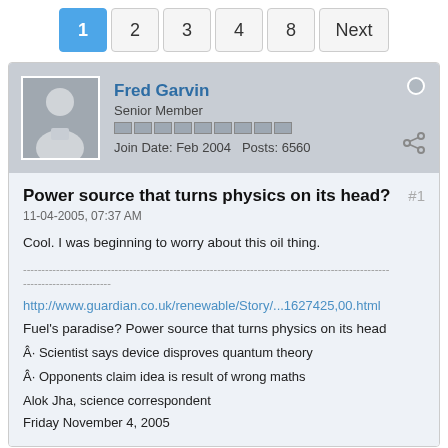1  2  3  4  8  Next
Fred Garvin
Senior Member
Join Date: Feb 2004  Posts: 6560
Power source that turns physics on its head?
11-04-2005, 07:37 AM
Cool. I was beginning to worry about this oil thing.
----------------------------------------------------------------------------------------------------
------------------------
http://www.guardian.co.uk/renewable/Story/...1627425,00.html
Fuel's paradise? Power source that turns physics on its head
Â· Scientist says device disproves quantum theory
Â· Opponents claim idea is result of wrong maths
Alok Jha, science correspondent
Friday November 4, 2005